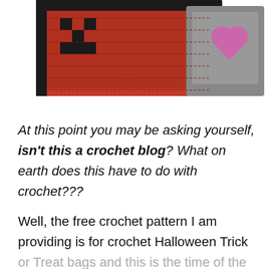[Figure (photo): Two crocheted bags: a red/black bag with pixel-art style design and a grey bag with a pink heart design, photographed from above at an angle.]
At this point you may be asking yourself, isn't this a crochet blog? What on earth does this have to do with crochet???
Well, the free crochet pattern I am providing is for crochet Halloween Trick or Treat bags and this is the time of the